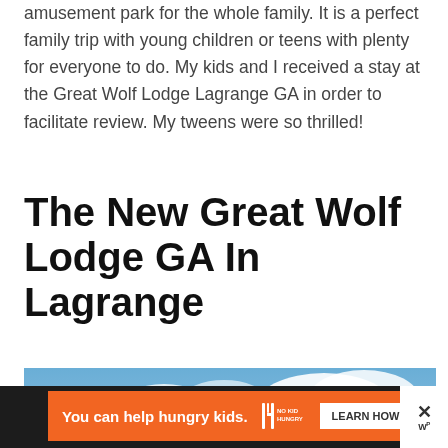amusement park for the whole family. It is a perfect family trip with young children or teens with plenty for everyone to do. My kids and I received a stay at the Great Wolf Lodge Lagrange GA in order to facilitate review. My tweens were so thrilled!
The New Great Wolf Lodge GA In Lagrange
[Figure (photo): Exterior photo of the Great Wolf Lodge in LaGrange, GA — a large multi-story tan/brown hotel building with dark roof peaks against a blue cloudy sky.]
[Figure (infographic): Advertisement bar: orange banner reading 'You can help hungry kids.' with No Kid Hungry logo and a 'LEARN HOW' button on dark background.]